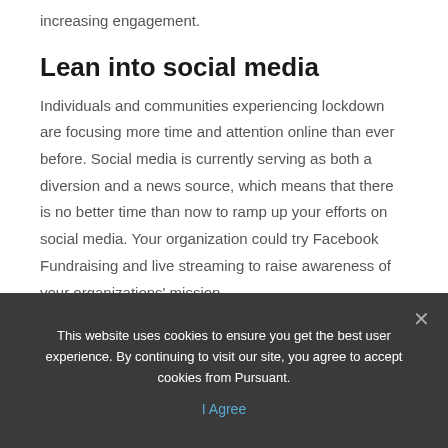increasing engagement.
Lean into social media
Individuals and communities experiencing lockdown are focusing more time and attention online than ever before. Social media is currently serving as both a diversion and a news source, which means that there is no better time than now to ramp up your efforts on social media. Your organization could try Facebook Fundraising and live streaming to raise awareness of your organizations' mission
This website uses cookies to ensure you get the best user experience. By continuing to visit our site, you agree to accept cookies from Pursuant.
I Agree